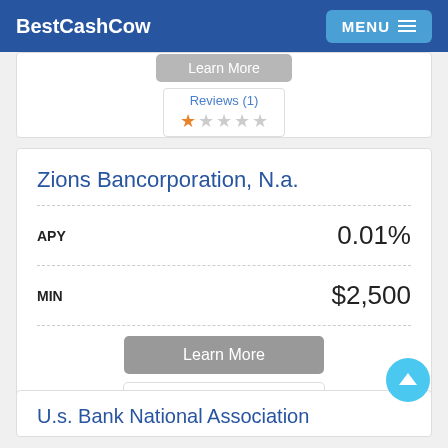BestCashCow | MENU
Learn More
Reviews (1) ★☆☆☆☆
Zions Bancorporation, N.a.
APY  0.01%
MIN  $2,500
Learn More
Reviews
U.s. Bank National Association